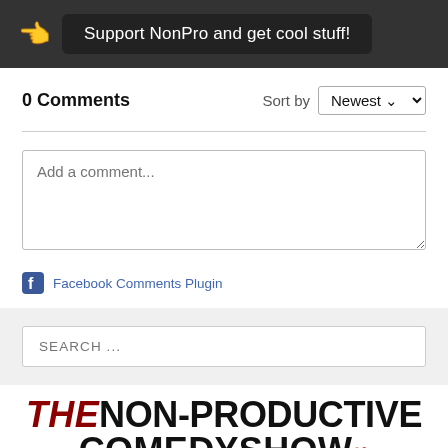Support NonPro and get cool stuff!
0 Comments
Sort by Newest
Add a comment...
Facebook Comments Plugin
SEARCH ...
[Figure (logo): THE NON-PRODUCTIVE COMEDY SHOW logo with THE in dark red italic and the rest in bold black]